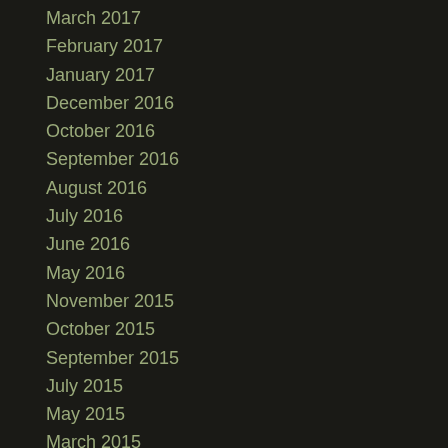March 2017
February 2017
January 2017
December 2016
October 2016
September 2016
August 2016
July 2016
June 2016
May 2016
November 2015
October 2015
September 2015
July 2015
May 2015
March 2015
February 2015
January 2015
December 2014
November 2014
October 2014
September 2014